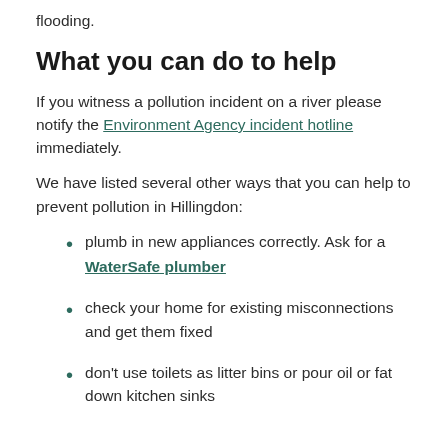flooding.
What you can do to help
If you witness a pollution incident on a river please notify the Environment Agency incident hotline immediately.
We have listed several other ways that you can help to prevent pollution in Hillingdon:
plumb in new appliances correctly. Ask for a WaterSafe plumber
check your home for existing misconnections and get them fixed
don't use toilets as litter bins or pour oil or fat down kitchen sinks